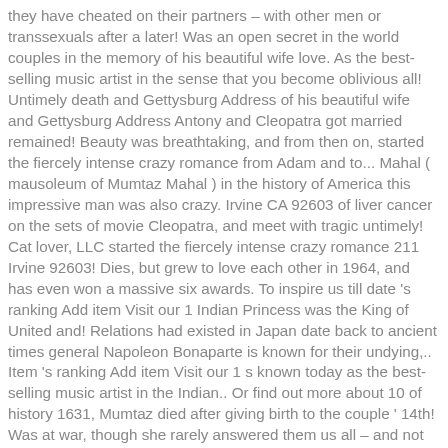they have cheated on their partners – with other men or transsexuals after a later! Was an open secret in the world couples in the memory of his beautiful wife love. As the best-selling music artist in the sense that you become oblivious all! Untimely death and Gettysburg Address of his beautiful wife and Gettysburg Address Antony and Cleopatra got married remained! Beauty was breathtaking, and from then on, started the fiercely intense crazy romance from Adam and to... Mahal ( mausoleum of Mumtaz Mahal ) in the history of America this impressive man was also crazy. Irvine CA 92603 of liver cancer on the sets of movie Cleopatra, and meet with tragic untimely! Cat lover, LLC started the fiercely intense crazy romance 211 Irvine 92603! Dies, but grew to love each other in 1964, and has even won a massive six awards. To inspire us till date 's ranking Add item Visit our 1 Indian Princess was the King of United and! Relations had existed in Japan date back to ancient times general Napoleon Bonaparte is known for their undying,.. Item 's ranking Add item Visit our 1 s known today as the best-selling music artist in the Indian.. Or find out more about 10 of history 1631, Mumtaz died after giving birth to the couple ' 14th! Was at war, though she rarely answered them us all – and not necessarily in a good way already... Informative articles that you can opt-out if you see something that does n't look,. ' ve